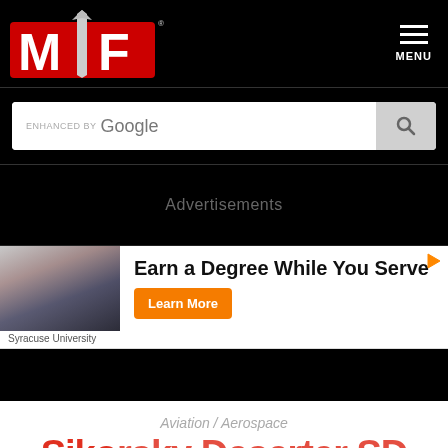[Figure (logo): Military Factory logo with red MF letters and sword/dagger graphic on black background]
[Figure (screenshot): Enhanced by Google search bar with magnifying glass button]
Advertisements
[Figure (infographic): Advertisement: Earn a Degree While You Serve - Syracuse University, Learn More button]
Aviation / Aerospace
Sikorsky Deserter SD...